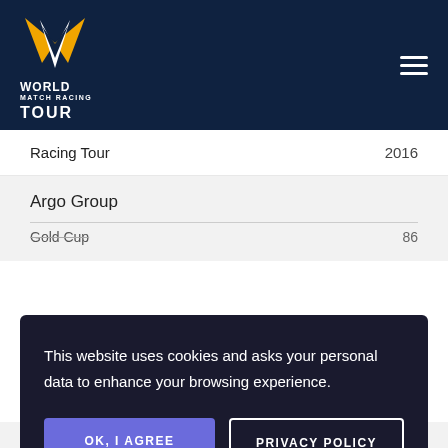[Figure (logo): World Match Racing Tour logo with golden wings/chevron graphic and white text reading WORLD MATCH RACING TOUR on dark navy background]
Racing Tour  2016
Argo Group
Gold Cup  86
This website uses cookies and asks your personal data to enhance your browsing experience.
OK, I AGREE
PRIVACY POLICY
Race  2015